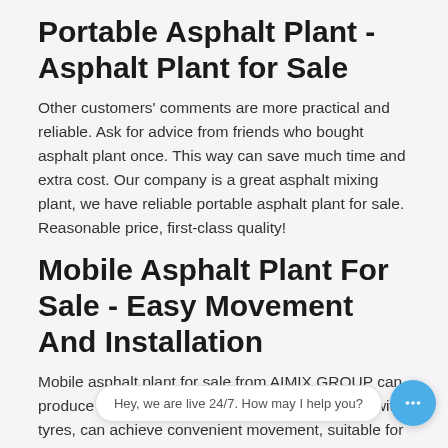Portable Asphalt Plant - Asphalt Plant for Sale
Other customers’ comments are more practical and reliable. Ask for advice from friends who bought asphalt plant once. This way can save much time and extra cost. Our company is a great asphalt mixing plant, we have reliable portable asphalt plant for sale. Reasonable price, first-class quality!
Mobile Asphalt Plant For Sale - Easy Movement And Installation
Mobile asphalt plant for sale from AIMIX GROUP can produce asphalt 40t-160t per hour, it is equipped with tyres, can achieve convenient movement, suitable for rapid production of asphalt in many adjacent construction si
Used Mobile Asphalt Plant